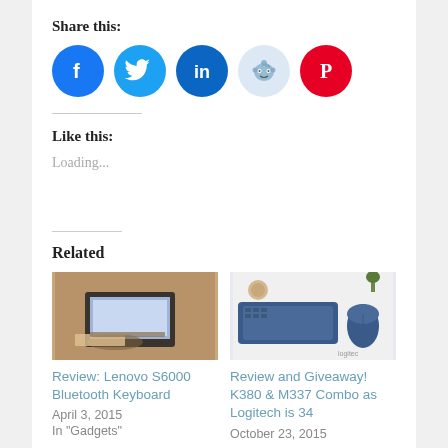Share this:
[Figure (infographic): Row of five social media sharing icons: Facebook (blue circle), Twitter (light blue circle), LinkedIn (dark blue circle), Reddit (light blue circle), Pinterest (red circle)]
Like this:
Loading...
Related
[Figure (photo): Photo of hands typing on a Lenovo tablet keyboard on a wooden surface]
Review: Lenovo S6000 Bluetooth Keyboard
April 3, 2015
In "Gadgets"
[Figure (photo): Photo of a Logitech K380 keyboard and M337 mouse on a white surface with plants and coffee cup]
Review and Giveaway! K380 & M337 Combo as Logitech is 34
October 23, 2015